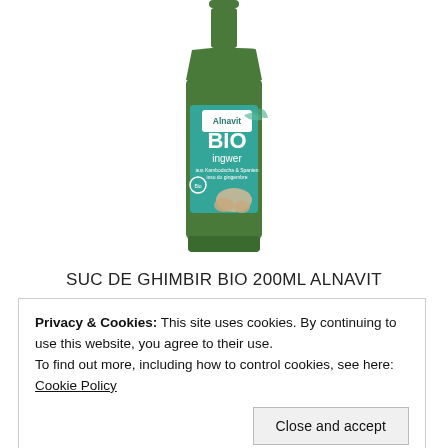[Figure (photo): A green glass bottle of Alnavit BIO Ingwer (Bio ginger juice) 200ml with a teal/green label showing the product name and ginger root imagery.]
SUC DE GHIMBIR BIO 200ML ALNAVIT
Privacy & Cookies: This site uses cookies. By continuing to use this website, you agree to their use.
To find out more, including how to control cookies, see here: Cookie Policy
Close and accept